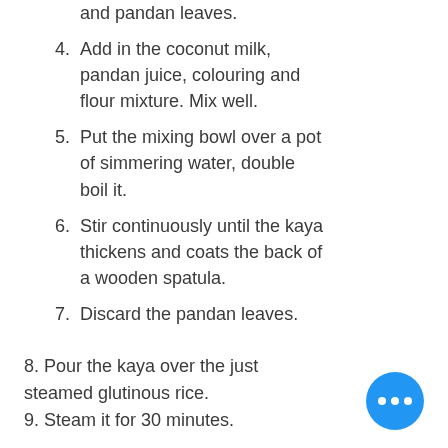and pandan leaves.
4. Add in the coconut milk, pandan juice, colouring and flour mixture. Mix well.
5. Put the mixing bowl over a pot of simmering water, double boil it.
6. Stir continuously until the kaya thickens and coats the back of a wooden spatula.
7. Discard the pandan leaves.
8. Pour the kaya over the just steamed glutinous rice.
9. Steam it for 30 minutes.